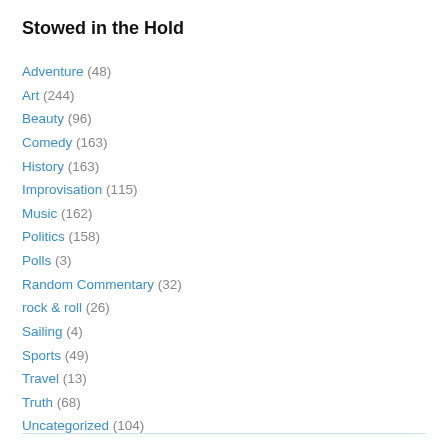Stowed in the Hold
Adventure (48)
Art (244)
Beauty (96)
Comedy (163)
History (163)
Improvisation (115)
Music (162)
Politics (158)
Polls (3)
Random Commentary (32)
rock & roll (26)
Sailing (4)
Sports (49)
Travel (13)
Truth (68)
Uncategorized (104)